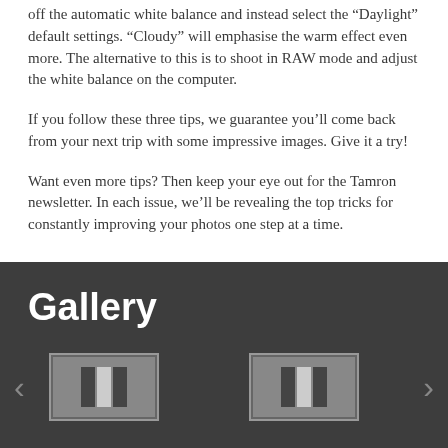off the automatic white balance and instead select the “Daylight” default settings. “Cloudy” will emphasise the warm effect even more. The alternative to this is to shoot in RAW mode and adjust the white balance on the computer.
If you follow these three tips, we guarantee you’ll come back from your next trip with some impressive images. Give it a try!
Want even more tips? Then keep your eye out for the Tamron newsletter. In each issue, we’ll be revealing the top tricks for constantly improving your photos one step at a time.
Gallery
[Figure (illustration): Gallery section with two thumbnail image placeholders shown with a dark background, navigation arrows on either side]
[Figure (illustration): Thumbnail image placeholder 1 with grey tones]
[Figure (illustration): Thumbnail image placeholder 2 with grey tones]